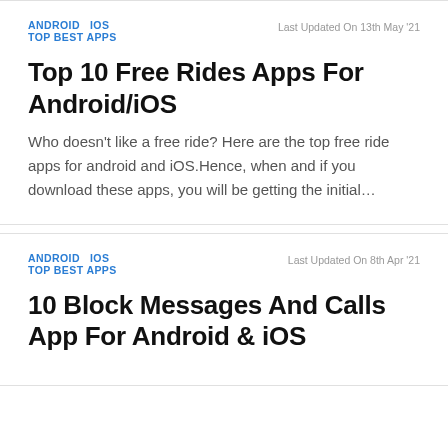ANDROID   IOS   TOP BEST APPS   Last Updated On 13th May '21
Top 10 Free Rides Apps For Android/iOS
Who doesn't like a free ride? Here are the top free ride apps for android and iOS.Hence, when and if you download these apps, you will be getting the initial…
ANDROID   IOS   TOP BEST APPS   Last Updated On 8th Apr '21
10 Block Messages And Calls App For Android & iOS